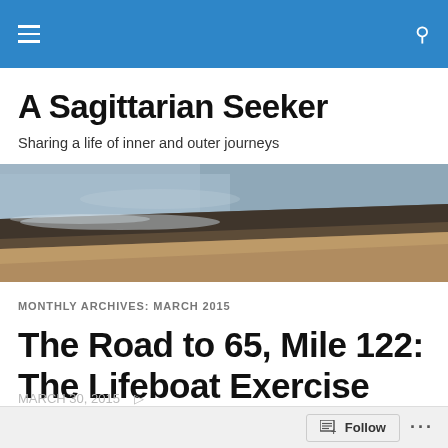A Sagittarian Seeker — navigation bar
A Sagittarian Seeker
Sharing a life of inner and outer journeys
[Figure (photo): Aerial or wide-angle view of a sandy beach shoreline with ocean waves, dark wet sand, and dry sand; muted warm tones]
MONTHLY ARCHIVES: MARCH 2015
The Road to 65, Mile 122: The Lifeboat Exercise
Follow